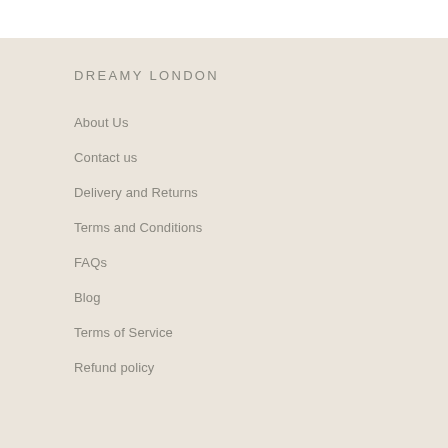DREAMY LONDON
About Us
Contact us
Delivery and Returns
Terms and Conditions
FAQs
Blog
Terms of Service
Refund policy